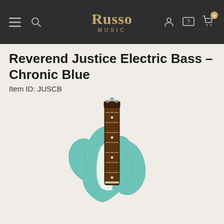Russo Music
Reverend Justice Electric Bass - Chronic Blue
Item ID: JUSCB
[Figure (photo): Product photo of a Reverend Justice Electric Bass guitar in Chronic Blue (light teal/seafoam blue) finish, showing the body and fretboard neck from a straight-on perspective.]